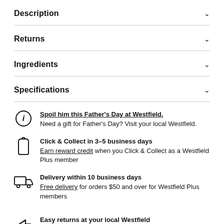Description
Returns
Ingredients
Specifications
Spoil him this Father's Day at Westfield. Need a gift for Father's Day? Visit your local Westfield.
Click & Collect in 3-5 business days. Earn reward credit when you Click & Collect as a Westfield Plus member
Delivery within 10 business days. Free delivery for orders $50 and over for Westfield Plus members
Easy returns at your local Westfield